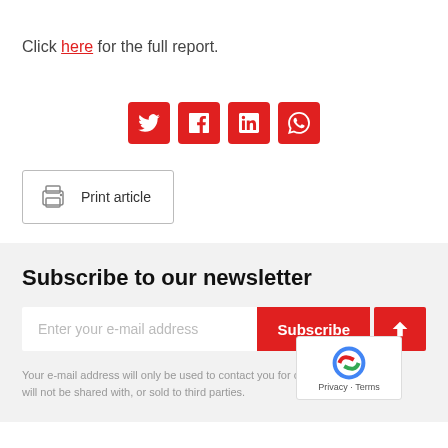Click here for the full report.
[Figure (infographic): Social media share icons: Twitter, Facebook, LinkedIn, WhatsApp — all red rounded squares]
[Figure (infographic): Print article button with printer icon, bordered box]
Subscribe to our newsletter
Enter your e-mail address  Subscribe  (up arrow button)
Your e-mail address will only be used to contact you for our newsletter and will not be shared with, or sold to third parties.
[Figure (other): reCAPTCHA badge: Privacy - Terms]